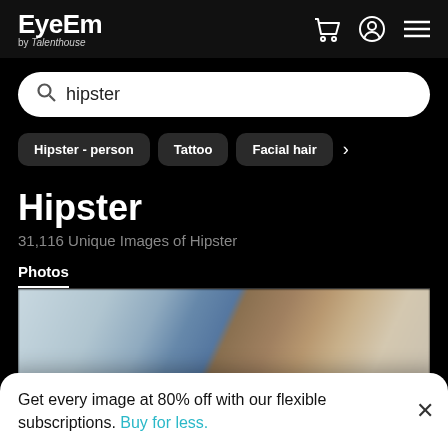EyeEm by Talenthouse
hipster
Hipster - person
Tattoo
Facial hair
Hipster
31,116 Unique Images of Hipster
Photos
[Figure (photo): Partially visible blurred city/building scene showing sky and architectural elements]
Get every image at 80% off with our flexible subscriptions. Buy for less.